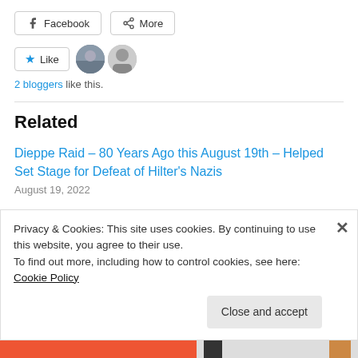[Figure (other): Facebook share button and More share button]
[Figure (other): Like button with star icon, two blogger avatar thumbnails]
2 bloggers like this.
Related
Dieppe Raid – 80 Years Ago this August 19th – Helped Set Stage for Defeat of Hilter's Nazis
August 19, 2022
This August 1st Is Emancipation Day in Canada
Privacy & Cookies: This site uses cookies. By continuing to use this website, you agree to their use.
To find out more, including how to control cookies, see here: Cookie Policy
Close and accept